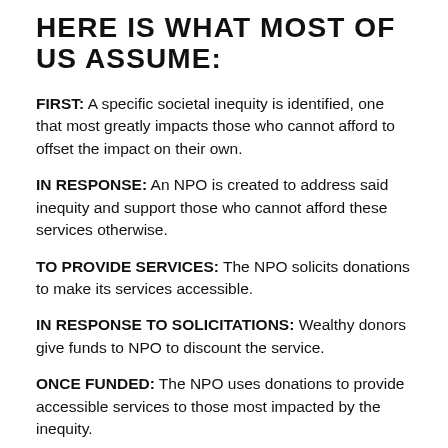HERE IS WHAT MOST OF US ASSUME:
FIRST: A specific societal inequity is identified, one that most greatly impacts those who cannot afford to offset the impact on their own.
IN RESPONSE: An NPO is created to address said inequity and support those who cannot afford these services otherwise.
TO PROVIDE SERVICES: The NPO solicits donations to make its services accessible.
IN RESPONSE TO SOLICITATIONS: Wealthy donors give funds to NPO to discount the service.
ONCE FUNDED: The NPO uses donations to provide accessible services to those most impacted by the inequity.